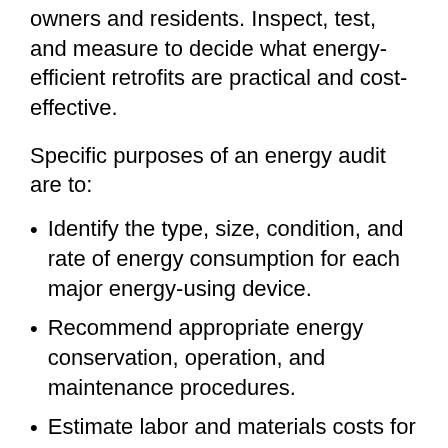owners and residents. Inspect, test, and measure to decide what energy-efficient retrofits are practical and cost-effective.
Specific purposes of an energy audit are to:
Identify the type, size, condition, and rate of energy consumption for each major energy-using device.
Recommend appropriate energy conservation, operation, and maintenance procedures.
Estimate labor and materials costs for energy retrofits.
Project savings expected from energy retrofits.
Note current and potential health and safety problems and how they may be